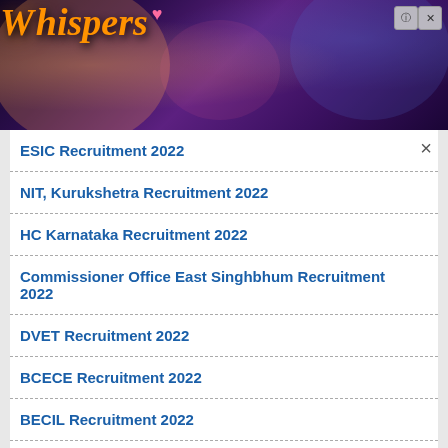[Figure (illustration): Advertisement banner for 'Whispers' app/game featuring romantic scenes with multiple characters in various romantic settings. Pink/purple gradient background with the word 'Whispers' in large orange italic text with a small heart symbol. Close and question mark buttons in top right corner.]
ESIC Recruitment 2022
NIT, Kurukshetra Recruitment 2022
HC Karnataka Recruitment 2022
Commissioner Office East Singhbhum Recruitment 2022
DVET Recruitment 2022
BCECE Recruitment 2022
BECIL Recruitment 2022
GPSC Recruitment 2022
A&N Administration Recruitment 2022